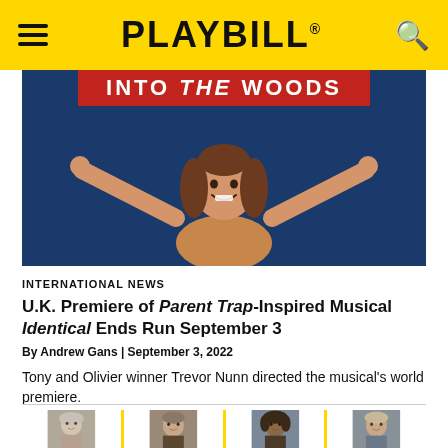PLAYBILL
[Figure (photo): INTO THE WOODS production banner at top with a young girl smiling with arms raised against a blue background]
INTERNATIONAL NEWS
U.K. Premiere of Parent Trap-Inspired Musical Identical Ends Run September 3
By Andrew Gans | September 3, 2022
Tony and Olivier winner Trevor Nunn directed the musical's world premiere.
[Figure (photo): Four portrait headshots of performers side by side separated by yellow vertical lines]